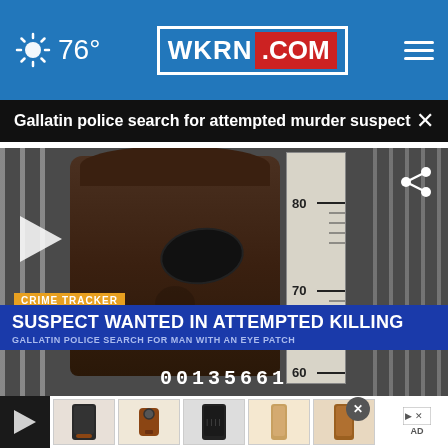76° WKRN.COM
Gallatin police search for attempted murder suspect
[Figure (screenshot): News broadcast video screenshot showing a mugshot of a Black male with an eye patch against a jail height chart background. Overlay text reads: CRIME TRACKER / SUSPECT WANTED IN ATTEMPTED KILLING / GALLATIN POLICE SEARCH FOR MAN WITH AN EYE PATCH / 00135661]
[Figure (photo): Advertisement thumbnail strip showing leather phone cases/accessories]